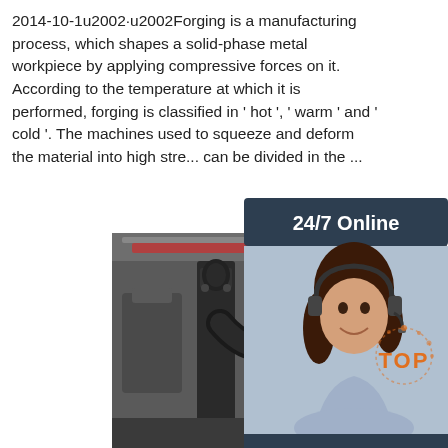2014-10-1u2002·u2002Forging is a manufacturing process, which shapes a solid-phase metal workpiece by applying compressive forces on it. According to the temperature at which it is performed, forging is classified in ' hot ', ' warm ' and ' cold '. The machines used to squeeze and deform the material into high stre... can be divided in the ...
Get Price
[Figure (infographic): 24/7 Online chat panel with a woman wearing a headset, 'Click here for free chat!' text, and a QUOTATION button]
[Figure (photo): Industrial forging machine in a manufacturing facility/factory floor]
[Figure (infographic): TOP badge with orange dots/sparks decoration]